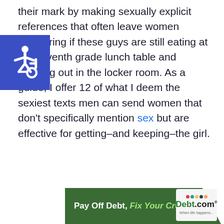their mark by making sexually explicit references that often leave women wondering if these guys are still eating at the seventh grade lunch table and hanging out in the locker room. As a guide, I offer 12 of what I deem the sexiest texts men can send women that don't specifically mention sex but are effective for getting–and keeping–the girl.
[Figure (logo): Blue accessibility wheelchair icon on dark blue square background]
[Figure (infographic): Debt.com advertisement banner: green banner with text 'Pay Off Debt, Fix Your Credit' and Debt.com logo with tagline 'When life happens...']